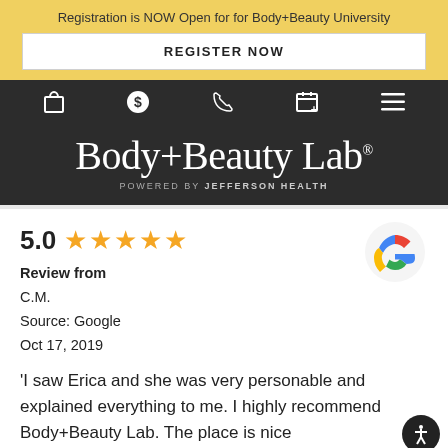Registration is NOW Open for for Body+Beauty University
REGISTER NOW
[Figure (screenshot): Navigation icons: shopping bag, dollar sign in circle, phone, calendar with plus, hamburger menu]
[Figure (logo): Body+Beauty Lab logo, powered by Jefferson Health, white text on dark background]
5.0 ★★★★★
Review from
C.M.
Source: Google
Oct 17, 2019
[Figure (logo): Google G multicolor logo]
'I saw Erica and she was very personable and explained everything to me. I highly recommend Body+Beauty Lab. The place is nice